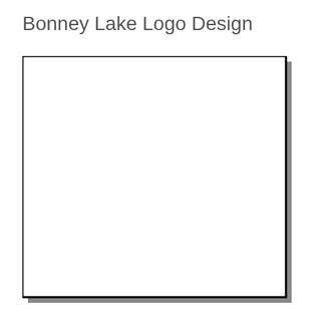Bonney Lake Logo Design
[Figure (other): A large empty white rectangle with a black border and drop shadow, serving as a placeholder or blank logo design area.]